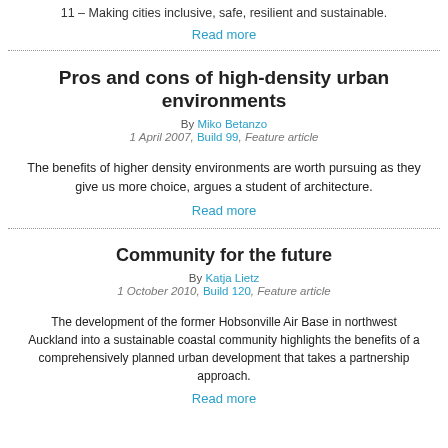11 – Making cities inclusive, safe, resilient and sustainable.
Read more
Pros and cons of high-density urban environments
By Miko Betanzo
1 April 2007, Build 99, Feature article
The benefits of higher density environments are worth pursuing as they give us more choice, argues a student of architecture.
Read more
Community for the future
By Katja Lietz
1 October 2010, Build 120, Feature article
The development of the former Hobsonville Air Base in northwest Auckland into a sustainable coastal community highlights the benefits of a comprehensively planned urban development that takes a partnership approach.
Read more